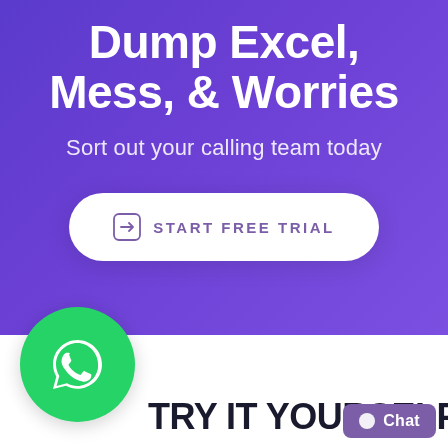Dump Excel, Mess, & Worries
Sort out your calling team today
START FREE TRIAL
[Figure (logo): WhatsApp logo circle icon in green]
TRY IT YOURSELF
Chat